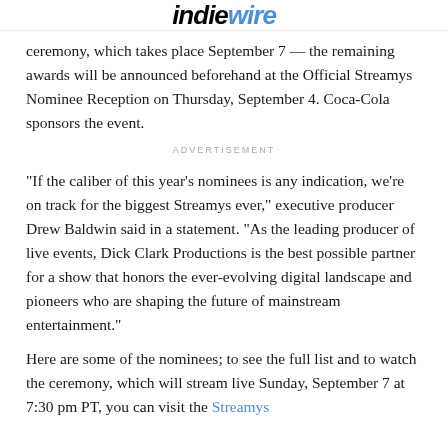IndieWire
ceremony, which takes place September 7 — the remaining awards will be announced beforehand at the Official Streamys Nominee Reception on Thursday, September 4. Coca-Cola sponsors the event.
ADVERTISEMENT
“If the caliber of this year’s nominees is any indication, we’re on track for the biggest Streamys ever,” executive producer Drew Baldwin said in a statement. “As the leading producer of live events, Dick Clark Productions is the best possible partner for a show that honors the ever-evolving digital landscape and pioneers who are shaping the future of mainstream entertainment.”
Here are some of the nominees; to see the full list and to watch the ceremony, which will stream live Sunday, September 7 at 7:30 pm PT, you can visit the Streamys